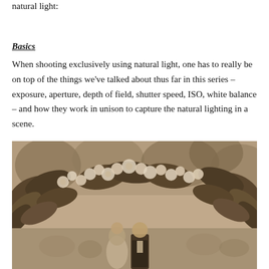natural light:
Basics
When shooting exclusively using natural light, one has to really be on top of the things we've talked about thus far in this series – exposure, aperture, depth of field, shutter speed, ISO, white balance – and how they work in unison to capture the natural lighting in a scene.
[Figure (photo): Sepia-toned wedding ceremony photograph showing a couple under a floral arch with large tropical leaves and white flowers, outdoors with trees in the background. The man is in a dark suit and the woman appears to be in a wedding dress.]